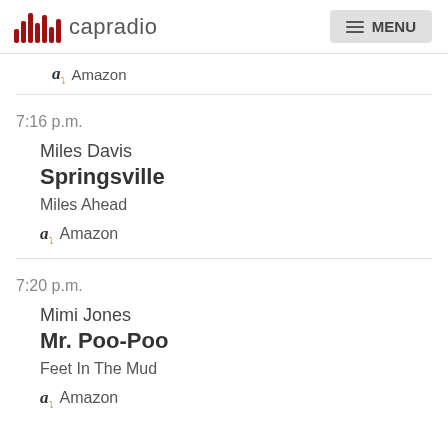capradio | MENU
Amazon
7:16 p.m.
Miles Davis
Springsville
Miles Ahead
Amazon
7:20 p.m.
Mimi Jones
Mr. Poo-Poo
Feet In The Mud
Amazon